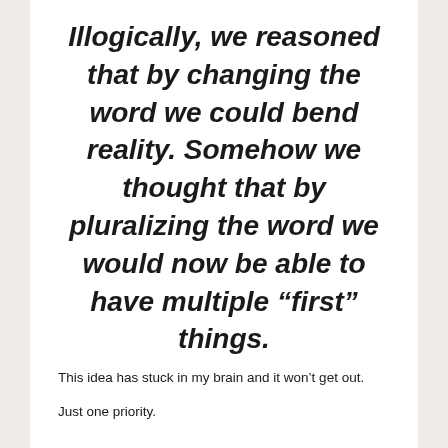Illogically, we reasoned that by changing the word we could bend reality. Somehow we thought that by pluralizing the word we would now be able to have multiple “first” things.
This idea has stuck in my brain and it won’t get out.
Just one priority.